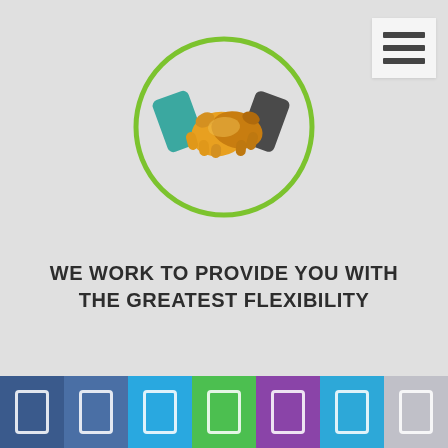[Figure (illustration): Handshake icon inside a green circle on a light grey background. Two hands shaking - one sleeve is teal/green and the other is dark grey, with golden/orange hands clasped together.]
WE WORK TO PROVIDE YOU WITH THE GREATEST FLEXIBILITY
[Figure (infographic): Bottom navigation bar with 7 colored segments (dark blue, medium blue, light blue, green, purple, cyan, grey), each containing a white outlined rectangle/phone icon.]